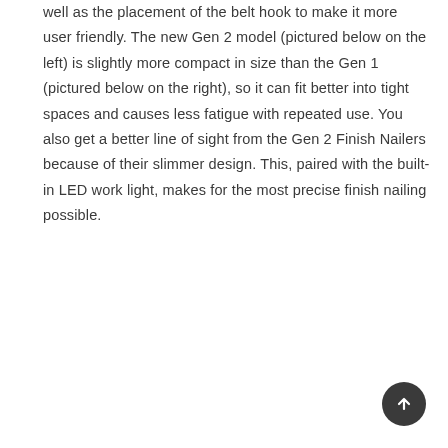well as the placement of the belt hook to make it more user friendly. The new Gen 2 model (pictured below on the left) is slightly more compact in size than the Gen 1 (pictured below on the right), so it can fit better into tight spaces and causes less fatigue with repeated use. You also get a better line of sight from the Gen 2 Finish Nailers because of their slimmer design. This, paired with the built-in LED work light, makes for the most precise finish nailing possible.
[Figure (other): Dark circular scroll-to-top button with an upward arrow icon, positioned in the bottom-right corner of the page.]